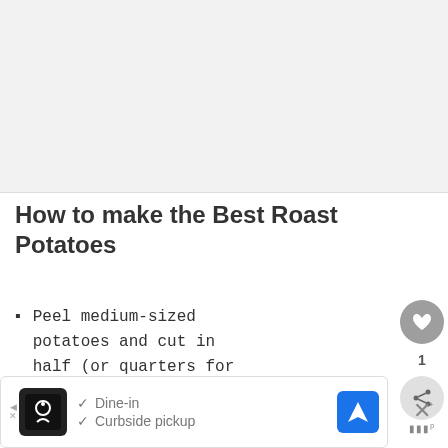[Figure (photo): Blank light gray image placeholder area at the top of the page]
How to make the Best Roast Potatoes
Peel medium-sized potatoes and cut in half (or quarters for large potatoes).